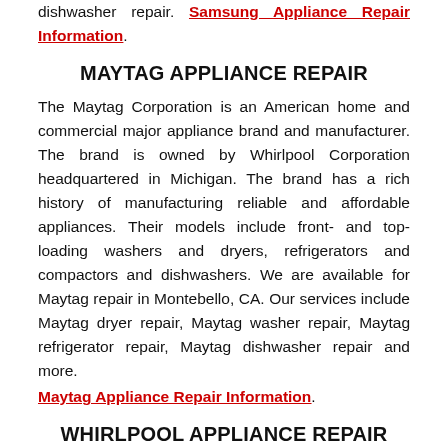dishwasher repair. Samsung Appliance Repair Information.
MAYTAG APPLIANCE REPAIR
The Maytag Corporation is an American home and commercial major appliance brand and manufacturer. The brand is owned by Whirlpool Corporation headquartered in Michigan. The brand has a rich history of manufacturing reliable and affordable appliances. Their models include front- and top-loading washers and dryers, refrigerators and compactors and dishwashers. We are available for Maytag repair in Montebello, CA. Our services include Maytag dryer repair, Maytag washer repair, Maytag refrigerator repair, Maytag dishwasher repair and more. Maytag Appliance Repair Information.
WHIRLPOOL APPLIANCE REPAIR
The Whirlpool Corporation is a manufacturer of home appliances. Whirlpool is the number one manufacturer of residential and commercial appliances. The corporation...